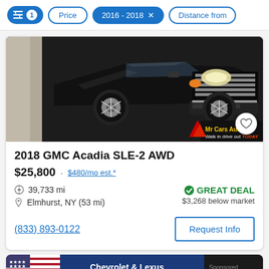Filter controls: [filter icon] 1  Price  2016 - 2018 ×  Distance from
[Figure (photo): Front view of a black 2018 GMC Acadia SUV parked, with 'Mr Cars Auto - Walk in drive out TODAY' dealer logo overlay]
2018 GMC Acadia SLE-2 AWD
$25,800 · $480/mo est.*
39,733 mi
Elmhurst, NY (53 mi)
GREAT DEAL — $3,268 below market
(833) 893-0122
Request Info
[Figure (photo): Partial bottom card showing a dealership banner with US flag and 'Chevrolet & Lexus' text, labeled Sponsored]